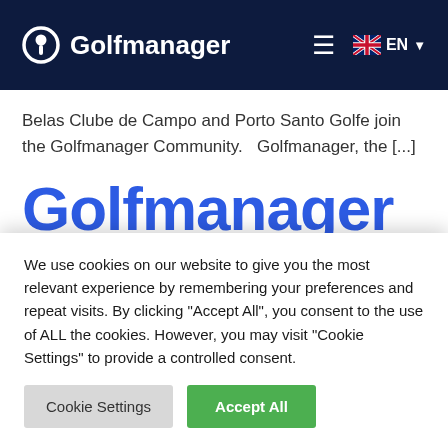Golfmanager | EN
Belas Clube de Campo and Porto Santo Golfe join the Golfmanager Community.   Golfmanager, the [...]
Golfmanager closes January
We use cookies on our website to give you the most relevant experience by remembering your preferences and repeat visits. By clicking "Accept All", you consent to the use of ALL the cookies. However, you may visit "Cookie Settings" to provide a controlled consent.